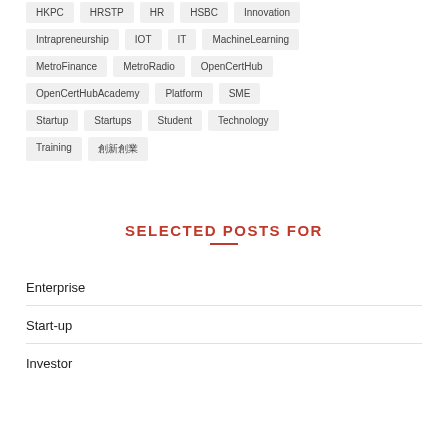HKPC   HRSTP   HR   HSBC   Innovation
Intrapreneurship   IOT   IT   MachineLearning
MetroFinance   MetroRadio   OpenCertHub
OpenCertHubAcademy   Platform   SME
Startup   Startups   Student   Technology
Training   創新創業
SELECTED POSTS FOR
Enterprise
Start-up
Investor